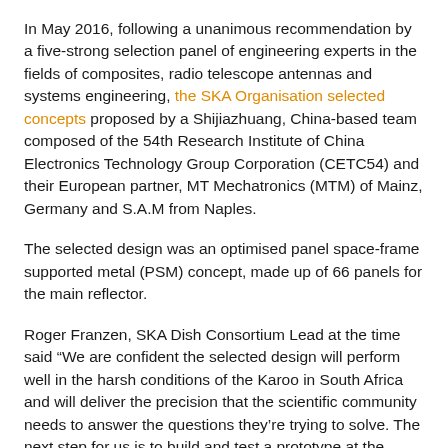In May 2016, following a unanimous recommendation by a five-strong selection panel of engineering experts in the fields of composites, radio telescope antennas and systems engineering, the SKA Organisation selected concepts proposed by a Shijiazhuang, China-based team composed of the 54th Research Institute of China Electronics Technology Group Corporation (CETC54) and their European partner, MT Mechatronics (MTM) of Mainz, Germany and S.A.M from Naples.
The selected design was an optimised panel space-frame supported metal (PSM) concept, made up of 66 panels for the main reflector.
Roger Franzen, SKA Dish Consortium Lead at the time said “We are confident the selected design will perform well in the harsh conditions of the Karoo in South Africa and will deliver the precision that the scientific community needs to answer the questions they’re trying to solve. The next step for us is to build and test a prototype at the South African site.”
And this is exactly what the international team set out to achieve, each working against the clock on a piece of this international